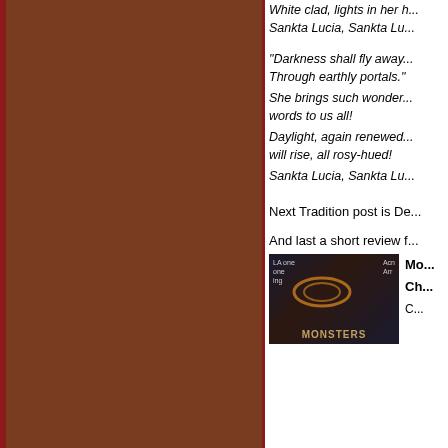[Figure (illustration): Brown/reddish-brown rectangular panel on the left side of the page, serving as a decorative sidebar with dark red border.]
White clad, lights in her h...
Sankta Lucia, Sankta Lu...
"Darkness shall fly away...
Through earthly portals."
She brings such wonder...
words to us all!
Daylight, again renewed...
will rise, all rosy-hued!
Sankta Lucia, Sankta Lu...
Next Tradition post is De...
And last a short review f...
[Figure (photo): Book cover of 'Monsters' - dark background with glowing orange rings and text overlay including small labels at top left and right.]
Mo...
Ch...
C...